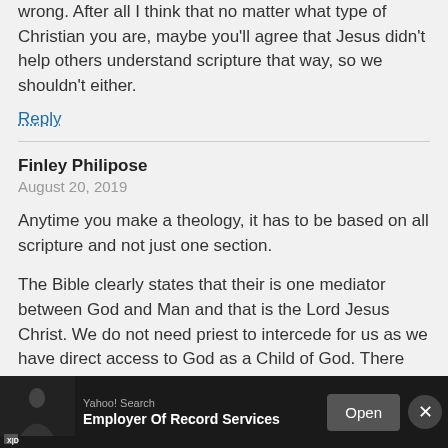wrong. After all I think that no matter what type of Christian you are, maybe you'll agree that Jesus didn't help others understand scripture that way, so we shouldn't either.
Reply
Finley Philipose
August 20, 2019
Anytime you make a theology, it has to be based on all scripture and not just one section.
The Bible clearly states that their is one mediator between God and Man and that is the Lord Jesus Christ. We do not need priest to intercede for us as we have direct access to God as a Child of God. There belief in Sola Gratia is not against other Christian's as the writer says.
The Bible also says that the coming Messiah will come in the likeness of Moses and establishes a
[Figure (other): Advertisement bar at bottom: Yahoo Search ad for Employer Of Record Services with Open button and close X button]